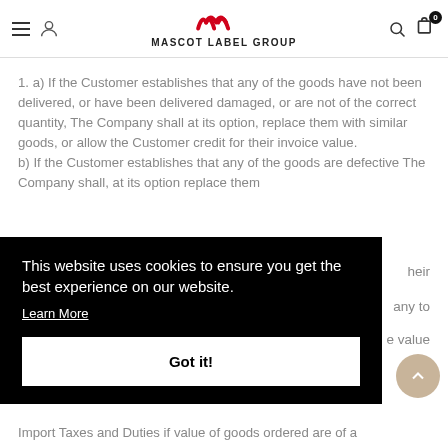Mascot Label Group
1. a) If the Customer establishes that any of the goods have not been delivered, or have been delivered damaged, or are not of the correct quantity, The Company shall at its option, replace them with similar goods, or allow the Customer credit for their invoice value.
b) If the Customer establishes that any of the goods are defective The Company shall, at its option replace them ... their ... any to ... e value ...
This website uses cookies to ensure you get the best experience on our website.
Learn More
Got it!
Import Taxes and Duties if value of goods ordered are of a